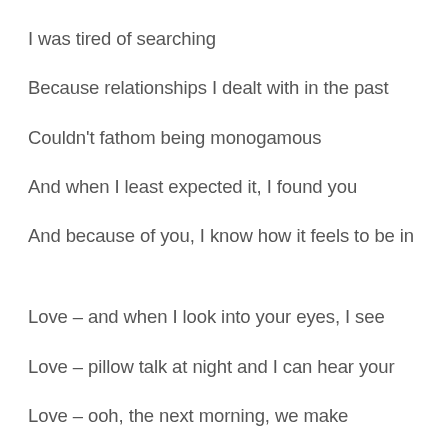I was tired of searching
Because relationships I dealt with in the past
Couldn't fathom being monogamous
And when I least expected it, I found you
And because of you, I know how it feels to be in
Love – and when I look into your eyes, I see
Love – pillow talk at night and I can hear your
Love – ooh, the next morning, we make